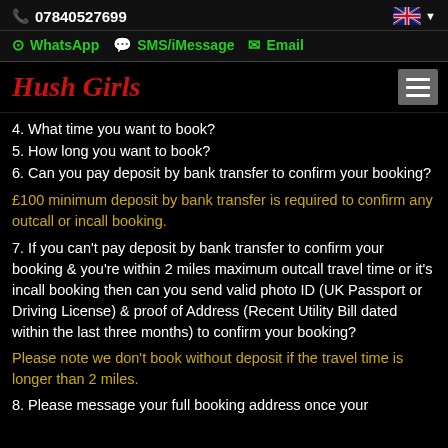07840527699
WhatsApp  SMS/iMessage  Email
Hush Girls
4. What time you want to book?
5. How long you want to book?
6. Can you pay deposit by bank transfer to confirm your booking?
£100 minimum deposit by bank transfer is required to confirm any outcall or incall booking.
7. If you can't pay deposit by bank transfer to confirm your booking & you're within 2 miles maximum outcall travel time or it's incall booking then can you send valid photo ID (UK Passport or Driving License) & proof of Address (Recent Utility Bill dated within the last three months) to confirm your booking?
Please note we don't book without deposit if the travel time is longer than 2 miles.
8. Please message your full booking address once your